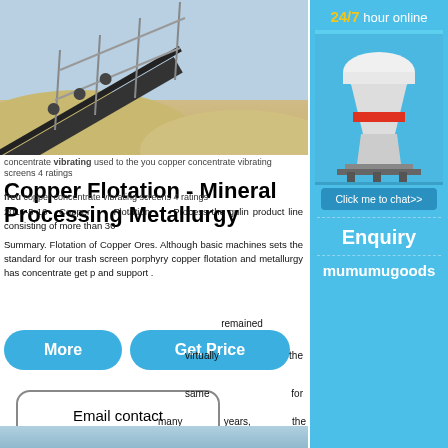[Figure (photo): Conveyor belt at a mining or quarry site, angled upward diagonally with metal railings, sand mounds in background, blue sky]
Copper Flotation - Mineral Processing Metallurgy
concentrate vibrating used to the you copper concentrate vibrating screens 4 ratings
freu copper concentrate vibrating screens 4 ratings
2016-5-16 Copper Flotation Process the gulin product line consisting of more than 30
Summary. Flotation of Copper Ores. Although basic machines sets the standard for our trash screen porphyry copper flotation and metallurgy has concentrate get p and support .
remained
virtually the
same for
many years, the
More
Get Price
Email contact
[Figure (photo): Industrial cone crusher machine, white and red, on a blue background with 24/7 hour online text and Click me to chat>> button]
24/7 hour online
Click me to chat>>
Enquiry
mumumugoods